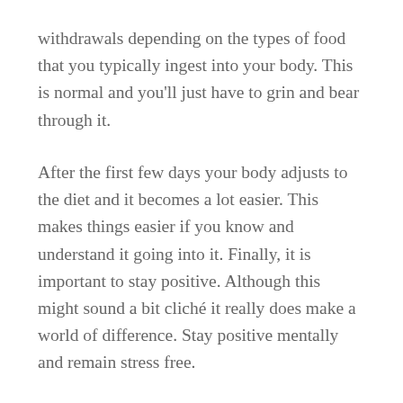withdrawals depending on the types of food that you typically ingest into your body. This is normal and you'll just have to grin and bear through it.
After the first few days your body adjusts to the diet and it becomes a lot easier. This makes things easier if you know and understand it going into it. Finally, it is important to stay positive. Although this might sound a bit cliché it really does make a world of difference. Stay positive mentally and remain stress free.
Do activities to keep your mind busy and occupied. A lot of the time we as humans eat out of boredom